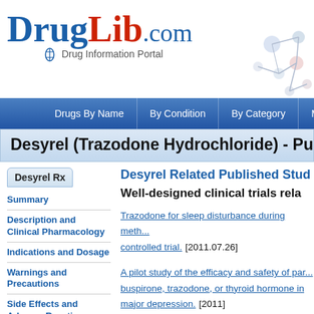DrugLib.com Drug Information Portal
Drugs By Name | By Condition | By Category | Most
Desyrel (Trazodone Hydrochloride) - Published Studies
Desyrel Rx
Summary
Description and Clinical Pharmacology
Indications and Dosage
Warnings and Precautions
Side Effects and Adverse Reactions
Drug Interactions.
Desyrel Related Published Studies
Well-designed clinical trials related to
Trazodone for sleep disturbance during meth... controlled trial. [2011.07.26]
A pilot study of the efficacy and safety of par... buspirone, trazodone, or thyroid hormone in major depression. [2011]
Dose proportionality of once-daily trazodone... conditions. [2010.12]